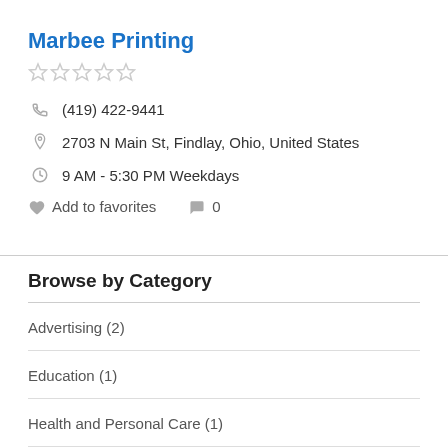Marbee Printing
★★★★★ (empty stars)
(419) 422-9441
2703 N Main St, Findlay, Ohio, United States
9 AM - 5:30 PM Weekdays
Add to favorites   0
Browse by Category
Advertising (2)
Education (1)
Health and Personal Care (1)
Home Improvement (2)